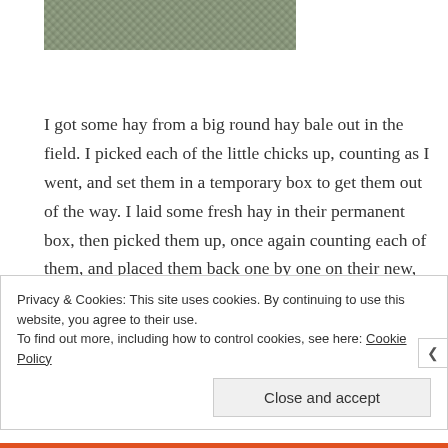[Figure (photo): Partial view of a hay/grass texture photo, cropped at top of page]
I got some hay from a big round hay bale out in the field.  I picked each of the little chicks up, counting as I went,  and set them in a temporary box to get them out of the way.   I laid some fresh hay in their permanent box, then picked them up, once again counting each of them,  and placed them back one by one on their new, cozy, straw bedding.  Then I gave them a feeder filled with
Privacy & Cookies: This site uses cookies. By continuing to use this website, you agree to their use.
To find out more, including how to control cookies, see here: Cookie Policy
Close and accept